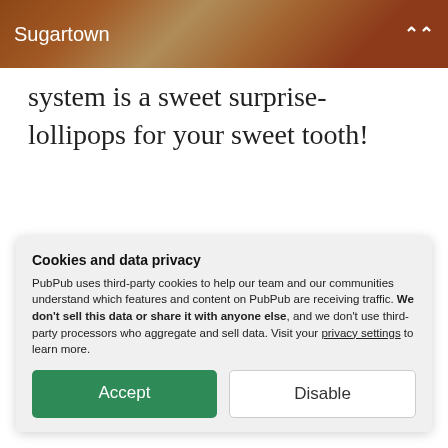Sugartown
system is a sweet surprise- lollipops for your sweet tooth!
[Figure (photo): Decorative artwork panels showing abstract radiating line patterns in orange/copper tones on white panels arranged side by side]
Cookies and data privacy
PubPub uses third-party cookies to help our team and our communities understand which features and content on PubPub are receiving traffic. We don't sell this data or share it with anyone else, and we don't use third-party processors who aggregate and sell data. Visit your privacy settings to learn more.
Accept
Disable